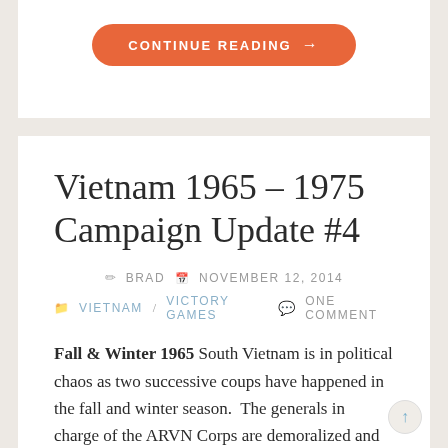CONTINUE READING →
Vietnam 1965 – 1975 Campaign Update #4
BRAD   NOVEMBER 12, 2014
VIETNAM / VICTORY GAMES   ONE COMMENT
Fall & Winter 1965 South Vietnam is in political chaos as two successive coups have happened in the fall and winter season.  The generals in charge of the ARVN Corps are demoralized and disloyal, preferring to focus on bitter in-fighting rather than getting the job done of securing the countryside ...